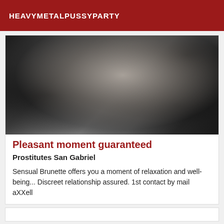HEAVYMETALPUSSYPARTY
[Figure (photo): Black and white close-up photo showing hands and torso]
Pleasant moment guaranteed
Prostitutes San Gabriel
Sensual Brunette offers you a moment of relaxation and well-being... Discreet relationship assured. 1st contact by mail aXXell